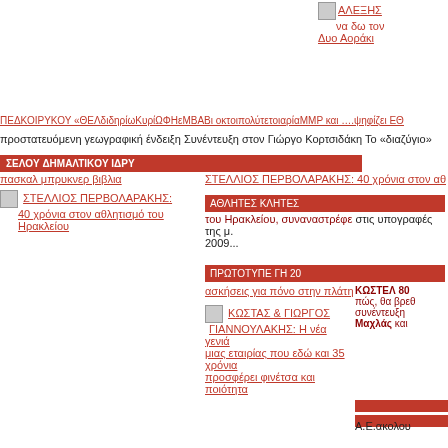ΑΛΕΞΗΣ να δω τον Δυο Αοράκι
ΠΕΔΚΟΙΡΥΚΟΥ «ΘΕΛδιδηρίωΚυρίΩΦΗεΜΒΑΒι οκτοιπολύτετοιαρίαΜΜΡ και ….ψηφίζει ΕΘ
προστατευόμενη γεωγραφική ένδειξη Συνέντευξη στον Γιώργο Κορτσιδάκη Το «διαζύγιο»
ΣΕΛOY ΔHΜΑΛΤΙΚOY ΙΔΡΥ
πασκαλ μπρυκνερ βιβλια
ΣΤΕΛΛΙΟΣ ΠΕΡΒΟΛΑΡΑΚΗΣ: 40 χρόνια στον αθλητισμό του Ηρακλείου
ΑΘΛΗΤΕΣ ΚΛΗΤΕΣ
του Ηρακλείου, συναναστρέφε στις υπογραφές της μ. 2009...
ΠΡΩΤΟΤΥΠΕ ΓΗ 20
ασκήσεις για πόνο στην πλάτη
ΚΩΣΤΕΛ 80 πώς, θα βρεθ συνέντευξη Μαχλάς και
ΚΩΣΤΑΣ & ΓΙΩΡΓΟΣ ΓΙΑΝΝΟΥΛΑΚΗΣ: Η νέα γενιά μιας εταιρίας που εδώ και 35 χρόνια προσφέρει φινέτσα και ποιότητα
Α.Ε.ακολου